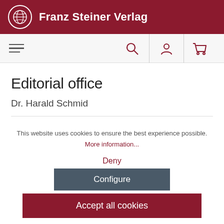Franz Steiner Verlag
Editorial office
Dr. Harald Schmid
This website uses cookies to ensure the best experience possible. More information...
Deny
Configure
Accept all cookies